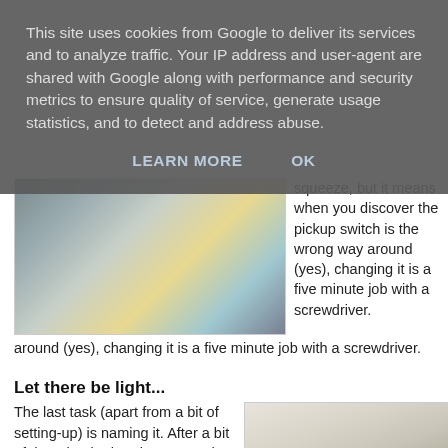This site uses cookies from Google to deliver its services and to analyze traffic. Your IP address and user-agent are shared with Google along with performance and security metrics to ensure quality of service, generate usage statistics, and to detect and address abuse.
LEARN MORE   OK
[Figure (photo): Close-up photo of guitar electronics/wiring with yellow cables and circuitry components on a guitar body]
squeeze, but it means when you discover the pickup switch is the wrong way around (yes), changing it is a five minute job with a screwdriver.
Let there be light...
The last task (apart from a bit of setting-up) is naming it. After a bit of thought, the burning sun and black scheme made
[Figure (photo): Photo of a guitar headstock (light/natural wood color) with black tuning pegs, against a light background]